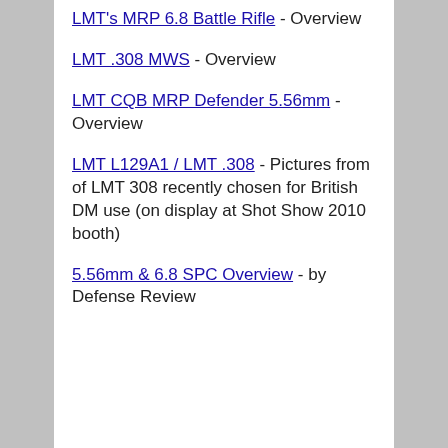LMT's MRP 6.8 Battle Rifle - Overview
LMT .308 MWS - Overview
LMT CQB MRP Defender 5.56mm - Overview
LMT L129A1 / LMT .308 - Pictures from of LMT 308 recently chosen for British DM use (on display at Shot Show 2010 booth)
5.56mm & 6.8 SPC Overview - by Defense Review